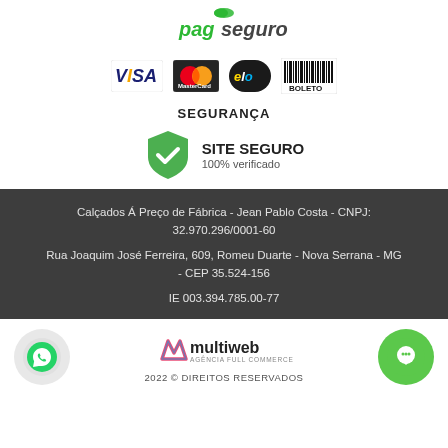[Figure (logo): PagSeguro payment platform logo with green icon and stylized text 'pagseguro']
[Figure (logo): Payment method logos: VISA (yellow/blue), MasterCard (red/orange circles), Elo (black circle with yellow/blue text), Boleto (barcode image)]
SEGURANÇA
[Figure (logo): Green shield with white checkmark and text 'SITE SEGURO 100% verificado']
Calçados Á Preço de Fábrica - Jean Pablo Costa - CNPJ: 32.970.296/0001-60
Rua Joaquim José Ferreira, 609, Romeu Duarte - Nova Serrana - MG - CEP 35.524-156
IE 003.394.785.00-77
[Figure (logo): WhatsApp green circle button icon]
[Figure (logo): Multiweb Agência Full Commerce logo with pink/blue M icon]
2022 © DIREITOS RESERVADOS
[Figure (logo): Green circle chat/support button icon]